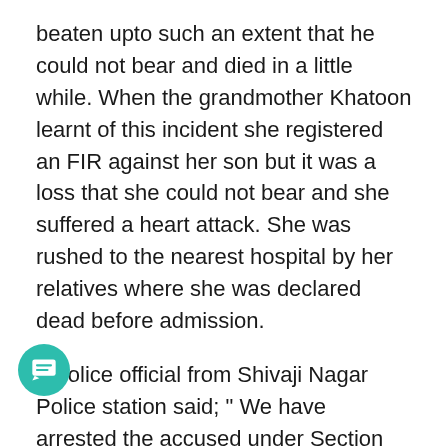beaten upto such an extent that he could not bear and died in a little while. When the grandmother Khatoon learnt of this incident she registered an FIR against her son but it was a loss that she could not bear and she suffered a heart attack. She was rushed to the nearest hospital by her relatives where she was declared dead before admission.
A police official from Shivaji Nagar Police station said; " We have arrested the accused under Section 302 (Murder) of IPC for killing his own son".
This incident may be taken as one of those instances when the parents remove their frustration on their kids which results in severe consequences and losses for them as well as the entire family. The poor kid who lost his life was hardly of 10 years a little understanding of things around and might have never thought that skipping school for one day will cost him his